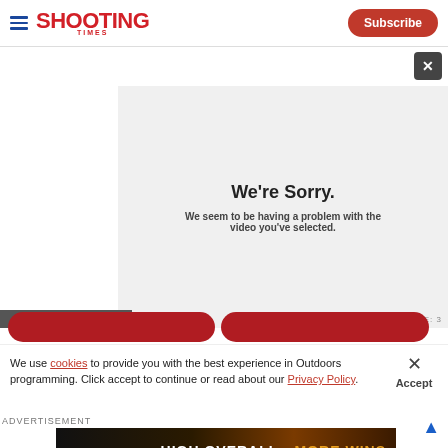SHOOTING TIMES | Subscribe
[Figure (screenshot): Video player error screen with message 'We're Sorry. We seem to be having a problem with the video you've selected.' on a light gray background. Error code shown in bottom right.]
We're Sorry.
We seem to be having a problem with the video you've selected.
We use cookies to provide you with the best experience in Outdoors programming. Click accept to continue or read about our Privacy Policy.
Advertisement
[Figure (photo): Federal High Over All advertisement banner with orange and dark background showing 'NEW FEDERAL HIGH OVER ALL MORE WINS']